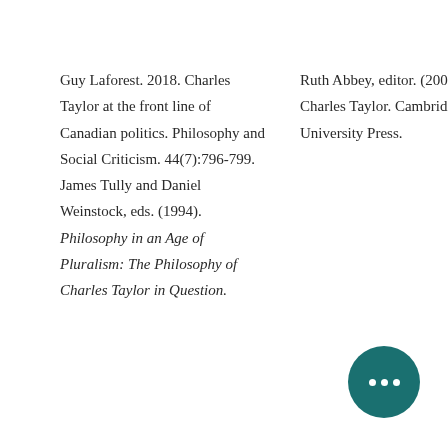Guy Laforest. 2018. Charles Taylor at the front line of Canadian politics. Philosophy and Social Criticism. 44(7):796-799. James Tully and Daniel Weinstock, eds. (1994). Philosophy in an Age of Pluralism: The Philosophy of Charles Taylor in Question.
Ruth Abbey, editor. (2004). Charles Taylor. Cambridge University Press.